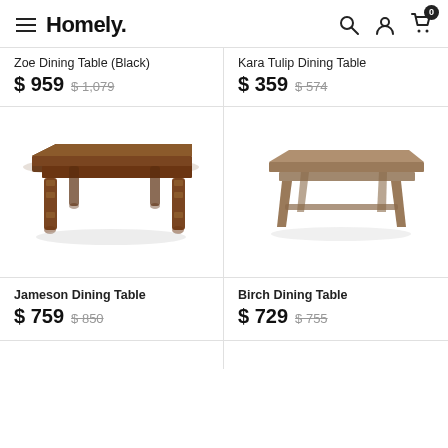Homely.
Zoe Dining Table (Black)
$ 959  $ 1,079
Kara Tulip Dining Table
$ 359  $ 574
[Figure (photo): Jameson Dining Table – dark brown wood rectangular dining table with turned legs, front perspective view]
[Figure (photo): Birch Dining Table – light walnut rectangular dining table with tapered angular legs, front perspective view]
Jameson Dining Table
$ 759  $ 850
Birch Dining Table
$ 729  $ 755